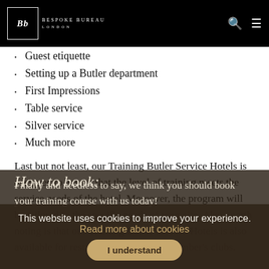Bespoke Bureau London
Guest etiquette
Setting up a Butler department
First Impressions
Table service
Silver service
Much more
Last but not least, our Training Butler Service Hotels is designed to ensure that the level of training meets the service needs of the hotel. Moreover, the program will be tailored to the specific needs of your site. Also, worth noting is that our Training Butler Service Hotels is also available for restaurants and private member's clubs.
Finally and needless to say, we think you should book your training course with us today!
How to book:
This website uses cookies to improve your experience. Read more about cookies